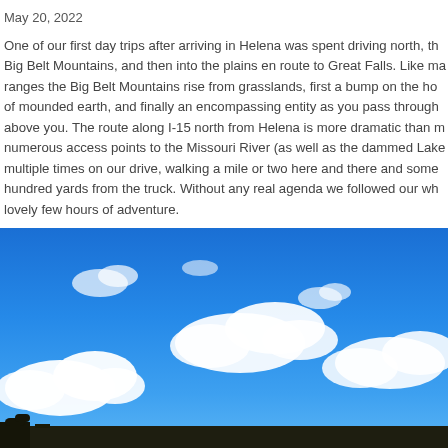May 20, 2022
One of our first day trips after arriving in Helena was spent driving north, through the Big Belt Mountains, and then into the plains en route to Great Falls. Like many mountain ranges the Big Belt Mountains rise from grasslands, first a bump on the horizon, then a wall of mounded earth, and finally an encompassing entity as you pass through them with cliffs rising above you. The route along I-15 north from Helena is more dramatic than most realize due to numerous access points to the Missouri River (as well as the dammed Lake Helena). We stopped multiple times on our drive, walking a mile or two here and there and sometimes just a few hundred yards from the truck. Without any real agenda we followed our whims and had a lovely few hours of adventure.
[Figure (photo): Bright blue sky with scattered white clouds and a dark landscape horizon strip at the bottom]